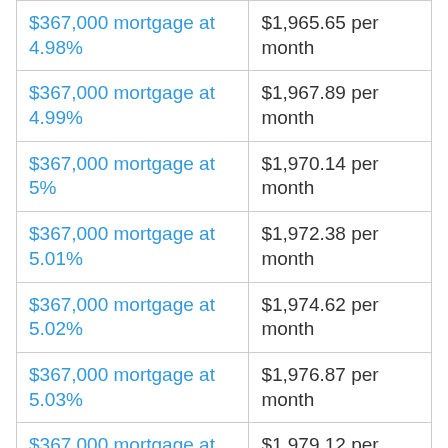| $367,000 mortgage at 4.98% | $1,965.65 per month |
| $367,000 mortgage at 4.99% | $1,967.89 per month |
| $367,000 mortgage at 5% | $1,970.14 per month |
| $367,000 mortgage at 5.01% | $1,972.38 per month |
| $367,000 mortgage at 5.02% | $1,974.62 per month |
| $367,000 mortgage at 5.03% | $1,976.87 per month |
| $367,000 mortgage at 5.04% | $1,979.12 per month |